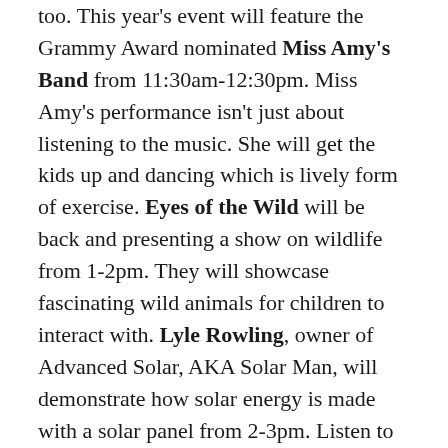too. This year's event will feature the Grammy Award nominated Miss Amy's Band from 11:30am-12:30pm. Miss Amy's performance isn't just about listening to the music. She will get the kids up and dancing which is lively form of exercise. Eyes of the Wild will be back and presenting a show on wildlife from 1-2pm. They will showcase fascinating wild animals for children to interact with. Lyle Rowling, owner of Advanced Solar, AKA Solar Man, will demonstrate how solar energy is made with a solar panel from 2-3pm. Listen to the sounds of School of Rock from 1-3pm.
Local artists will display and sell pieces made of upcycled trash. Demonstrations throughout the day will show visitors how to make their own art from transformed by-products and waste materials.